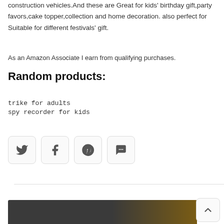construction vehicles.And these are Great for kids' birthday gift,party favors,cake topper,collection and home decoration. also perfect for Suitable for different festivals' gift.
As an Amazon Associate I earn from qualifying purchases.
Random products:
trike for adults
spy recorder for kids
[Figure (infographic): Four social share icon buttons: Twitter (bird), Facebook (f), Pinterest (P), and a comment/chat bubble icon, each in a rounded square box.]
[Figure (photo): Bottom portion of a product or page image showing a dark surface transitioning to a warm brown/wooden color.]